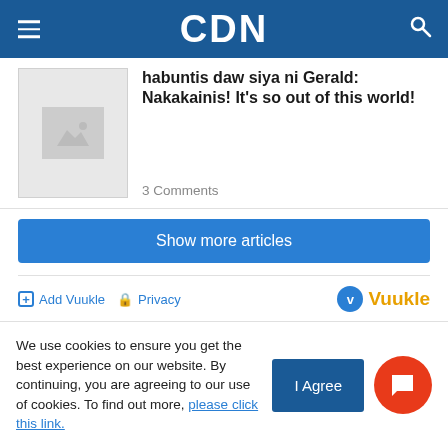CDN
habuntis daw siya ni Gerald: Nakakainis! It’s so out of this world!
3 Comments
Show more articles
Add Vuukle   Privacy
Advertisement
We use cookies to ensure you get the best experience on our website. By continuing, you are agreeing to our use of cookies. To find out more, please click this link.
I Agree